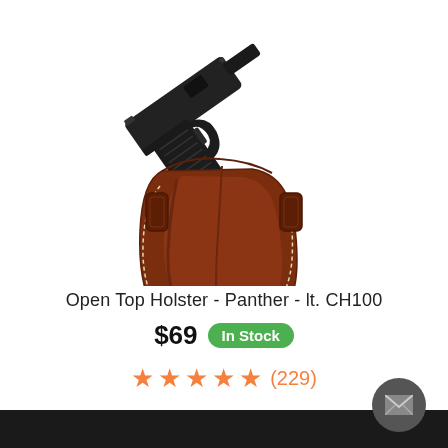[Figure (photo): Product photo of an Open Top leather gun holster (brown/tan leather with white stitching, OWB belt slots) with a black semi-automatic handgun inserted into it, shown on a white background.]
Open Top Holster - Panther - lt. CH100
$69  In Stock
★★★★★ (229)